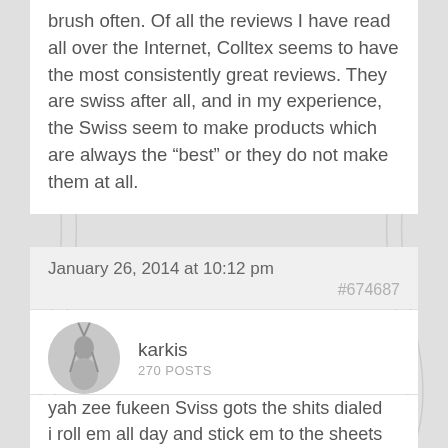brush often. Of all the reviews I have read all over the Internet, Colltex seems to have the most consistently great reviews. They are swiss after all, and in my experience, the Swiss seem to make products which are always the “best” or they do not make them at all.
January 26, 2014 at 10:12 pm
#674687
karkis
270 POSTS
yah zee fukeen Sviss gots the shits dialed
i roll em all day and stick em to the sheets to dry at night, works great
love em